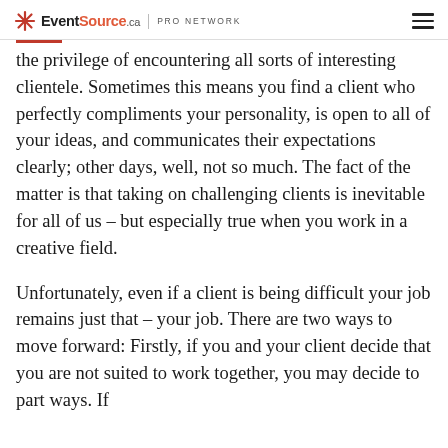EventSource.ca | PRO NETWORK
the privilege of encountering all sorts of interesting clientele. Sometimes this means you find a client who perfectly compliments your personality, is open to all of your ideas, and communicates their expectations clearly; other days, well, not so much. The fact of the matter is that taking on challenging clients is inevitable for all of us – but especially true when you work in a creative field.
Unfortunately, even if a client is being difficult your job remains just that – your job. There are two ways to move forward: Firstly, if you and your client decide that you are not suited to work together, you may decide to part ways. If